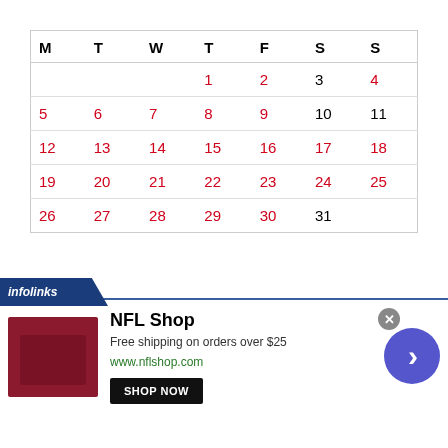| M | T | W | T | F | S | S |
| --- | --- | --- | --- | --- | --- | --- |
|  |  |  | 1 | 2 | 3 | 4 |
| 5 | 6 | 7 | 8 | 9 | 10 | 11 |
| 12 | 13 | 14 | 15 | 16 | 17 | 18 |
| 19 | 20 | 21 | 22 | 23 | 24 | 25 |
| 26 | 27 | 28 | 29 | 30 | 31 |  |
October 2020
[Figure (infographic): NFL Shop advertisement with dark red shirt image, NFL Shop text, Free shipping on orders over $25, www.nflshop.com, SHOP NOW button, infolinks badge, close button, and arrow navigation button]